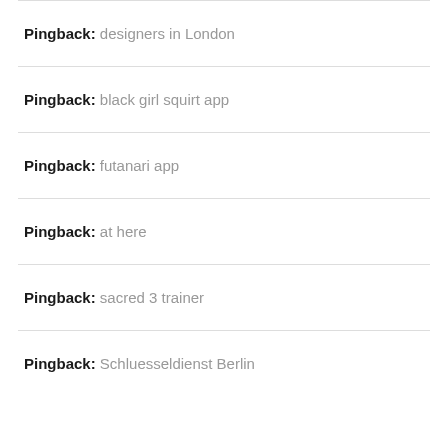Pingback: designers in London
Pingback: black girl squirt app
Pingback: futanari app
Pingback: at here
Pingback: sacred 3 trainer
Pingback: Schluesseldienst Berlin